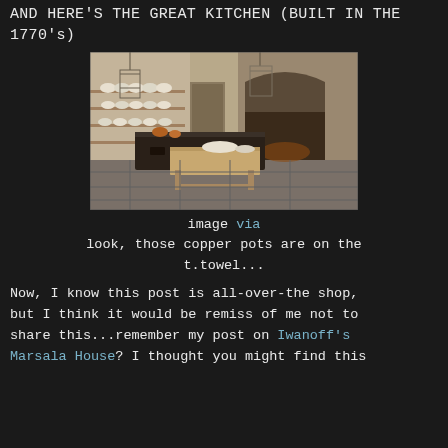AND HERE'S THE GREAT KITCHEN (BUILT IN THE 1770's)
[Figure (photo): Historic kitchen interior with stone fireplace, wooden preparation tables, copper pots, shelves with plates, and hanging lanterns.]
image via
look, those copper pots are on the t.towel...
Now, I know this post is all-over-the shop, but I think it would be remiss of me not to share this...remember my post on Iwanoff's Marsala House? I thought you might find this